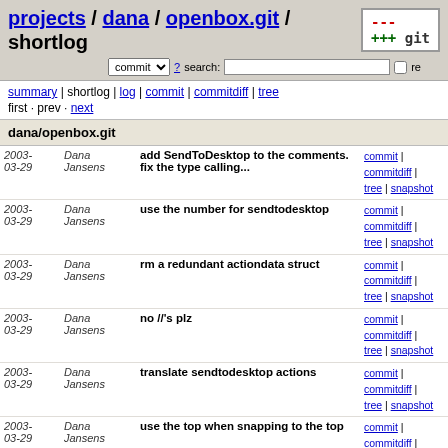projects / dana / openbox.git / shortlog
commit ▼ ? search: re
summary | shortlog | log | commit | commitdiff | tree
first · prev · next
dana/openbox.git
| Date | Author | Message | Links |
| --- | --- | --- | --- |
| 2003-03-29 | Dana Jansens | add SendToDesktop to the comments. fix the type calling... | commit | commitdiff | tree | snapshot |
| 2003-03-29 | Dana Jansens | use the number for sendtodesktop | commit | commitdiff | tree | snapshot |
| 2003-03-29 | Dana Jansens | rm a redundant actiondata struct | commit | commitdiff | tree | snapshot |
| 2003-03-29 | Dana Jansens | no //'s plz | commit | commitdiff | tree | snapshot |
| 2003-03-29 | Dana Jansens | translate sendtodesktop actions | commit | commitdiff | tree | snapshot |
| 2003-03-29 | Dana Jansens | use the top when snapping to the top | commit | commitdiff | tree | snapshot |
| 2003-03-29 | Dana Jansens | create the dirs for themes in ~/.openbox on startup | commit | commitdiff | tree | snapshot |
| 2003-03-29 | Scott Moynes | Add include path | commit | commitdiff | tree | snapshot |
| 2003-03-29 | Dana Jansens | add focusing if clicked on the... | commit | commitdiff |